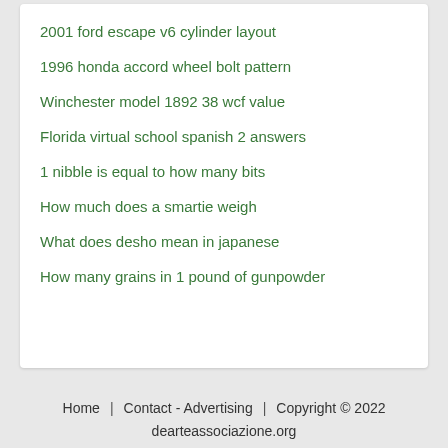2001 ford escape v6 cylinder layout
1996 honda accord wheel bolt pattern
Winchester model 1892 38 wcf value
Florida virtual school spanish 2 answers
1 nibble is equal to how many bits
How much does a smartie weigh
What does desho mean in japanese
How many grains in 1 pound of gunpowder
Home   Contact - Advertising   Copyright © 2022   dearteassociazione.org